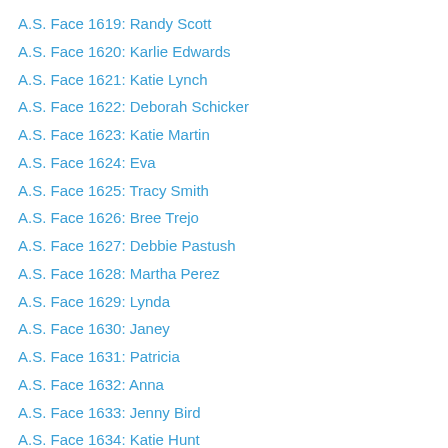A.S. Face 1619: Randy Scott
A.S. Face 1620: Karlie Edwards
A.S. Face 1621: Katie Lynch
A.S. Face 1622: Deborah Schicker
A.S. Face 1623: Katie Martin
A.S. Face 1624: Eva
A.S. Face 1625: Tracy Smith
A.S. Face 1626: Bree Trejo
A.S. Face 1627: Debbie Pastush
A.S. Face 1628: Martha Perez
A.S. Face 1629: Lynda
A.S. Face 1630: Janey
A.S. Face 1631: Patricia
A.S. Face 1632: Anna
A.S. Face 1633: Jenny Bird
A.S. Face 1634: Katie Hunt
A.S. Face 1635: Kylie Frost
A.S. Face 1636: Kim Pelham
A.S. Face 1637: Nikki
A.S. Face 1638: Tracy T...